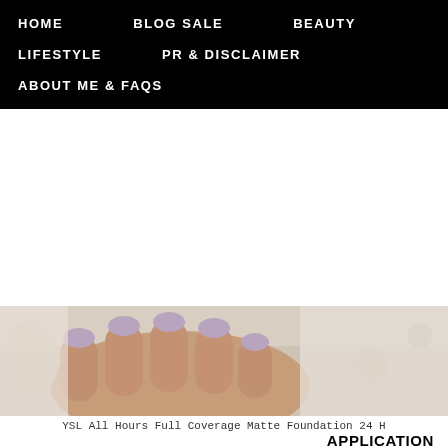HOME   BLOG SALE   BEAUTY   LIFESTYLE   PR & DISCLAIMER   ABOUT ME & FAQs
[Figure (photo): Close-up photo of a hand with light purple/mauve nails against a white floral fabric background]
YSL All Hours Full Coverage Matte Foundation 24 H
APPLICATION
To start with a healthy layer of moisturiser before going straight necessity for me and I have yet to find one that truly knocks my product straight to the face using the tiny spatula. I would say in to total but cannot be sure. I blended the product out using the Bdel favourite base tools.